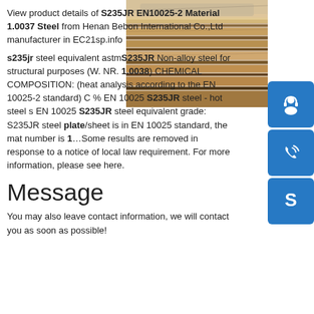View product details of S235JR EN10025-2 Material 1.0037 Steel from Henan Bebon International Co.,Ltd manufacturer in EC21sp.info
s235jr steel equivalent astm S235JR Non-alloy steel for structural purposes (W. NR. 1.0038) CHEMICAL COMPOSITION: (heat analysis according to the EN 10025-2 standard) C % EN 10025 S235JR steel - hot steel s EN 10025 S235JR steel equivalent grade: S235JR steel plate/sheet is in EN 10025 standard, the mat number is 1…Some results are removed in response to a notice of local law requirement. For more information, please see here.
[Figure (photo): Stack of steel plates/sheets photographed from above, showing layered metal edges in brown and grey tones]
[Figure (illustration): Blue button with headset/customer support icon]
[Figure (illustration): Blue button with phone/call icon]
[Figure (illustration): Blue button with Skype icon]
Message
You may also leave contact information, we will contact you as soon as possible!